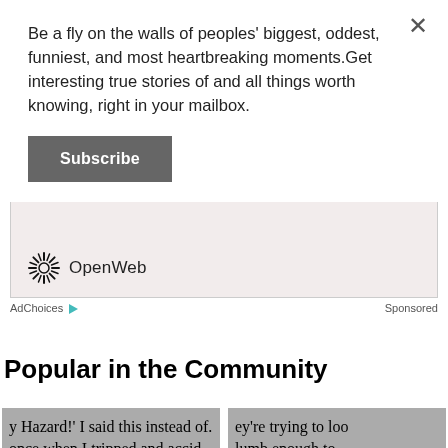Be a fly on the walls of peoples' biggest, oddest, funniest, and most heartbreaking moments.Get interesting true stories of and all things worth knowing, right in your mailbox.
Subscribe
[Figure (other): OpenWeb advertisement box with OpenWeb logo inside a bordered pinkish box, with AdChoices and Sponsored footer labels]
Popular in the Community
[Figure (screenshot): Left community card showing partial text: 'y Hazard!' I said this instead of. / once when I tripped and accid / ht this to my nephew. Now my s' with caption 'People Share Their Favorite']
[Figure (screenshot): Right community card showing partial text: 'ey're trying to loo / lumb enough to / people break down' with caption 'People Break Down']